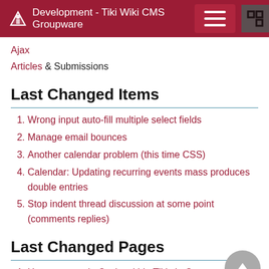Development - Tiki Wiki CMS Groupware
Ajax
Articles & Submissions
Last Changed Items
Wrong input auto-fill multiple select fields
Manage email bounces
Another calendar problem (this time CSS)
Calendar: Updating recurring events mass produces double entries
Stop indent thread discussion at some point (comments replies)
Last Changed Pages
How to upgrade Cypht within Tiki via Composer